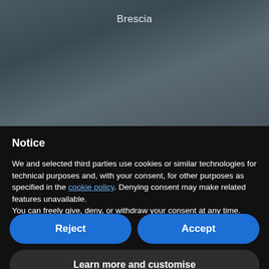[Figure (screenshot): Dark blurred background image with 'Brescia' text label at top]
Notice
We and selected third parties use cookies or similar technologies for technical purposes and, with your consent, for other purposes as specified in the cookie policy. Denying consent may make related features unavailable.
You can freely give, deny, or withdraw your consent at any time. Use the "Accept" button to consent to the use of such technologies. Use the "Reject" button to continue without accepting.
Reject
Accept
Learn more and customise